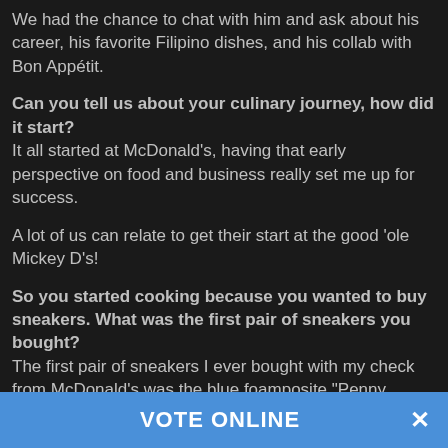We had the chance to chat with him and ask about his career, his favorite Filipino dishes, and his collab with Bon Appétit.
Can you tell us about your culinary journey, how did it start? It all started at McDonald's, having that early perspective on food and business really set me up for success.
A lot of us can relate to get their start at the good 'ole Mickey D's!
So you started cooking because you wanted to buy sneakers. What was the first pair of sneakers you bought? The first pair of sneakers I ever bought with my check from McDonald's was the blue foamposite "Penny Hardaways."
We all know the struggle of asking our parents for something we want and they say, "You have to work for it if you want something."
VOTE ONLINE